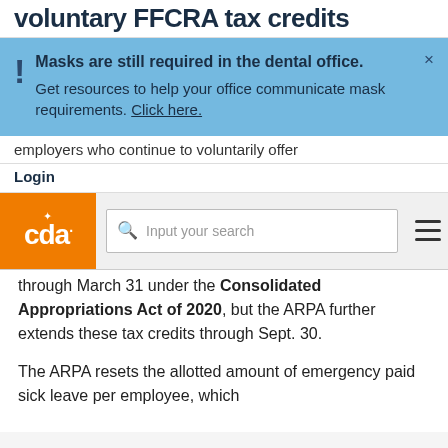voluntary FFCRA tax credits
Masks are still required in the dental office. Get resources to help your office communicate mask requirements. Click here.
employers who continue to voluntarily offer
Login
[Figure (logo): CDA orange logo with wheat symbol and text 'cda']
Input your search
through March 31 under the Consolidated Appropriations Act of 2020, but the ARPA further extends these tax credits through Sept. 30.

The ARPA resets the allotted amount of emergency paid sick leave per employee, which